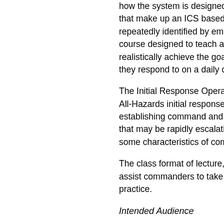how the system is designed to work, that make up an ICS based response, repeatedly identified by emergency, course designed to teach and demonstrate, realistically achieve the goal of providing, they respond to on a daily or weekly basis.
The Initial Response Operations for All-Hazards initial response incidents, establishing command and management that may be rapidly escalating to some characteristics of complex incidents.
The class format of lecture, discussion, assist commanders to take NIMS into practice.
Intended Audience
The intended audience is comprised of responders who may be designated, who may arrive first at the scene.